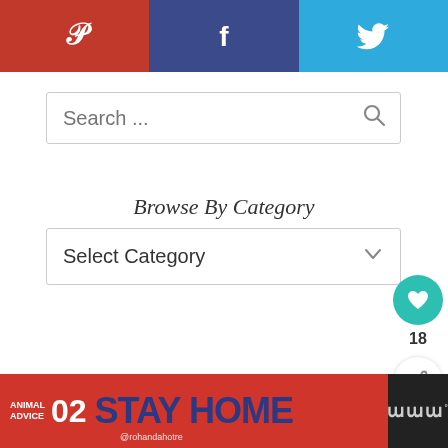[Figure (screenshot): Social sharing bar with three buttons: Pinterest (red, P icon), Facebook (dark blue, f icon), Twitter (light blue, bird icon)]
Search ...
Browse By Category
Select Category
[Figure (screenshot): Like/heart widget showing teal heart circle button with count 18, and a share button below]
DISCLOSURE AND PRIVACY POLICIES
[Figure (infographic): Ad banner: Animal Advice 02 - STAY HOME text with @rohandahotre handle, close button, and Mw logo on right]